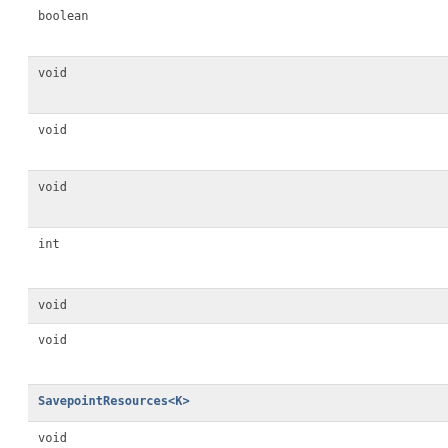boolean
void
void
void
int
void
void
SavepointResources<K>
void